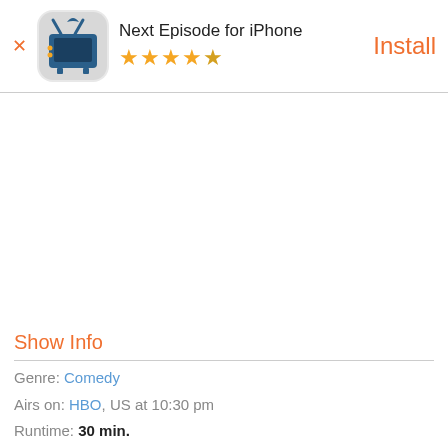[Figure (screenshot): App banner with TV mascot icon for Next Episode for iPhone app, showing 4.5 star rating and Install button]
Show Info
Genre: Comedy
Airs on: HBO, US at 10:30 pm
Runtime: 30 min.
Status: Returning Series
Created by: Larry David
Rating: ★★★★☆ 4.65/5 (102 ratings)